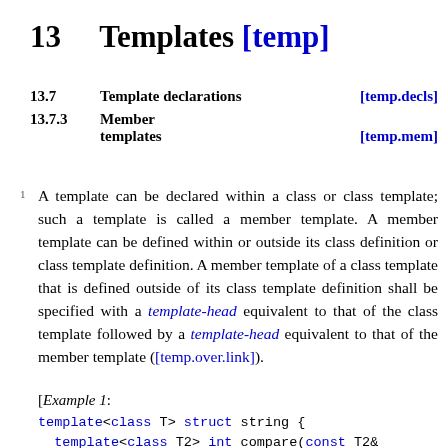13    Templates [temp]
13.7    Template declarations [temp.decls]
13.7.3    Member templates [temp.mem]
A template can be declared within a class or class template; such a template is called a member template. A member template can be defined within or outside its class definition or class template definition. A member template of a class template that is defined outside of its class template definition shall be specified with a template-head equivalent to that of the class template followed by a template-head equivalent to that of the member template ([temp.over.link]).
[Example 1:
template<class T> struct string {
    template<class T2> int compare(const T2&);